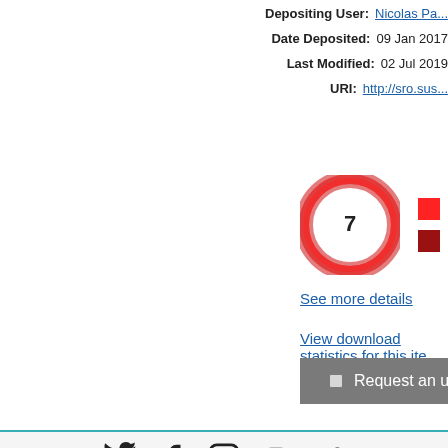Depositing User: Nicolas Pa...
Date Deposited: 09 Jan 2017
Last Modified: 02 Jul 2019
URI: http://sro.sus...
[Figure (other): Altmetric donut badge showing score of 7, with red legend squares for P... and 2...]
See more details
View download statistics for this ite...
Request an update
[Figure (other): Social media icons: Twitter, Facebook, Instagram, YouTube, Vimeo]
University of Sussex
Sussex House, Falmer